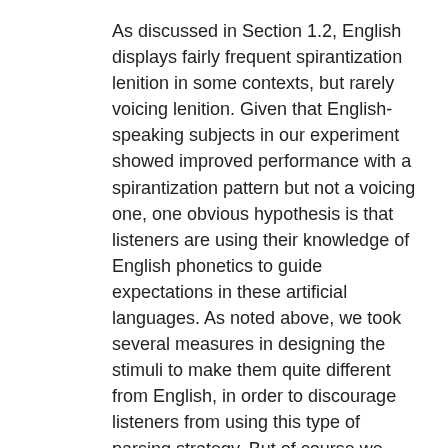As discussed in Section 1.2, English displays fairly frequent spirantization lenition in some contexts, but rarely voicing lenition. Given that English-speaking subjects in our experiment showed improved performance with a spirantization pattern but not a voicing one, one obvious hypothesis is that listeners are using their knowledge of English phonetics to guide expectations in these artificial languages. As noted above, we took several measures in designing the stimuli to make them quite different from English, in order to discourage listeners from using this type of parsing strategy. But of course we can't rule out the possibility that these measures failed and listeners did, in the end, treat these stimuli in an English-like way. We provided some post-hoc analyses in Section 3.2 that would seem to argue against this interpretation. In this section, we discuss the results of these post-hoc analyses, as well as the language experience hypothesis more generally, in more detail.
The basic idea behind the language experience